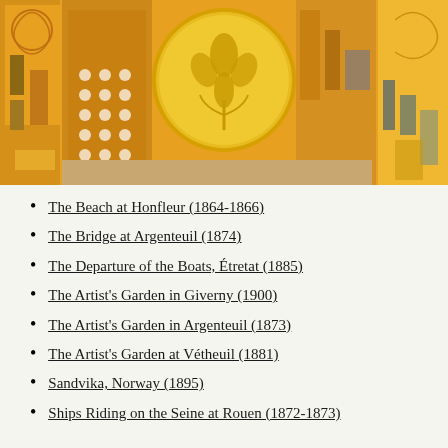[Figure (illustration): Decorative art nouveau style illustration with golden/orange tones, geometric shapes, swirling patterns, and a central golden circle with a floral motif (tulip or lotus flower). Background features rectangles in orange, amber, tan, and grey with ornamental scrollwork patterns.]
The Beach at Honfleur (1864-1866)
The Bridge at Argenteuil (1874)
The Departure of the Boats, Étretat (1885)
The Artist's Garden in Giverny (1900)
The Artist's Garden in Argenteuil (1873)
The Artist's Garden at Vétheuil (1881)
Sandvika, Norway (1895)
Ships Riding on the Seine at Rouen (1872-1873)